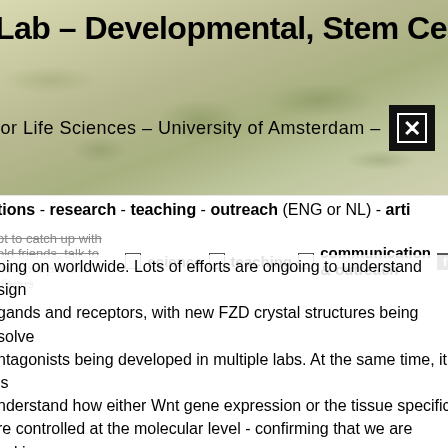Lab - Developmental, Stem Cell
for Life Sciences - University of Amsterdam -
tions - research - teaching - outreach (ENG or NL) - arti
science  teaching  communication & outreach  fi
oing on worldwide. Lots of efforts are ongoing to understand sign gands and receptors, with new FZD crystal structures being solve ntagonists being developed in multiple labs. At the same time, it is nderstand how either Wnt gene expression or the tissue specific re controlled at the molecular level - confirming that we are asking urrent research projects.
he conference chairs did an excellent job putting together the sci hich included a trip to the Pompeii inspired Schloss Villa Ludwigsh f the conference (one of the perks of being an invited speaker). opefully everybody will arrive back in the lab fresh and inspired, w xperiments or the writing of their thesis, new questions and a